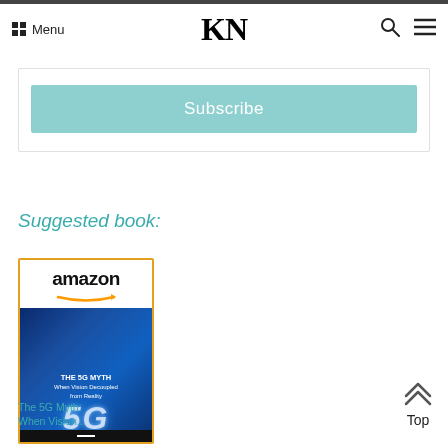KN — Menu (navigation bar with search and menu icons)
Subscribe
Suggested book:
[Figure (photo): Amazon product card showing book 'The 5G Myth: When Vision Decoupled from Reality' with Amazon logo and book cover image featuring a blue 5G graphic]
The 5G Myth: When Vision...
Top